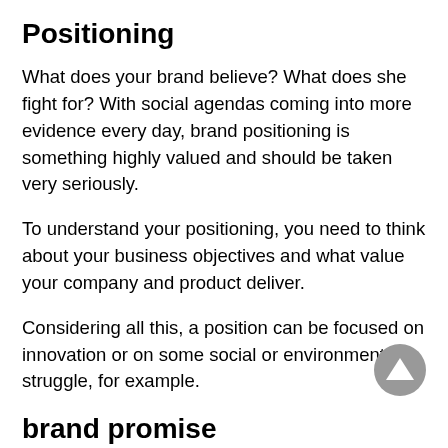Positioning
What does your brand believe? What does she fight for? With social agendas coming into more evidence every day, brand positioning is something highly valued and should be taken very seriously.
To understand your positioning, you need to think about your business objectives and what value your company and product deliver.
Considering all this, a position can be focused on innovation or on some social or environmental struggle, for example.
brand promise